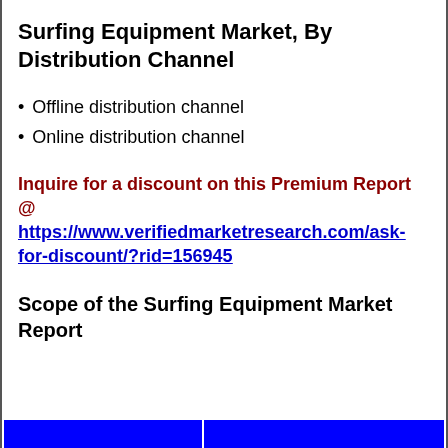Surfing Equipment Market, By Distribution Channel
Offline distribution channel
Online distribution channel
Inquire for a discount on this Premium Report @ https://www.verifiedmarketresearch.com/ask-for-discount/?rid=156945
Scope of the Surfing Equipment Market Report
[Figure (other): Blue horizontal bar at the bottom of the page, divided into two sections by a white vertical line]